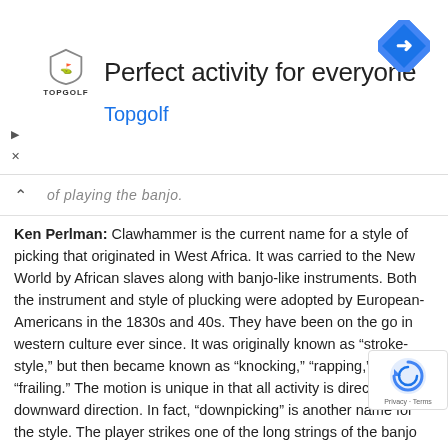[Figure (screenshot): Topgolf advertisement banner with logo, shield icon, and Google Maps navigation icon. Text reads 'Perfect activity for everyone' and 'Topgolf'. Play and close controls visible on left.]
of playing the banjo.
Ken Perlman: Clawhammer is the current name for a style of picking that originated in West Africa. It was carried to the New World by African slaves along with banjo-like instruments. Both the instrument and style of plucking were adopted by European-Americans in the 1830s and 40s. They have been on the go in western culture ever since. It was originally known as “stroke-style,” but then became known as “knocking,” “rapping,” and “frailing.” The motion is unique in that all activity is directed in a downward direction. In fact, “downpicking” is another name for the style. The player strikes one of the long strings of the banjo with the back of either the middle or index fingernail in a motion driven by wrist and forearm. The player alternates this back-of-fingernail downstroke with a thumb-stroke that plucks either another one of the long strings or the short 5th string. This is often referred to as the drone-string.
Beyond that, as they say, everything else is just “fancy stuff.
[Figure (logo): Google reCAPTCHA badge with circular arrow icon and Privacy/Terms links.]